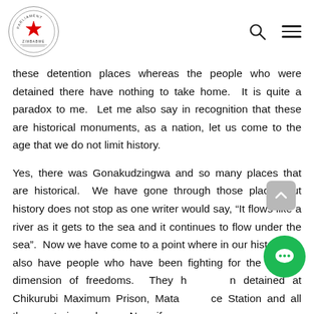Parliament of Zimbabwe header with logo, search icon, and menu icon
these detention places whereas the people who were detained there have nothing to take home.  It is quite a paradox to me.  Let me also say in recognition that these are historical monuments, as a nation, let us come to the age that we do not limit history.
Yes, there was Gonakudzingwa and so many places that are historical.  We have gone through those places but history does not stop as one writer would say, “It flows like a river as it gets to the sea and it continues to flow under the sea”.  Now we have come to a point where in our history, we also have people who have been fighting for the second dimension of freedoms.  They have been detained at Chikurubi Maximum Prison, Matapi Police Station and all those notorious places.  Now, if we are